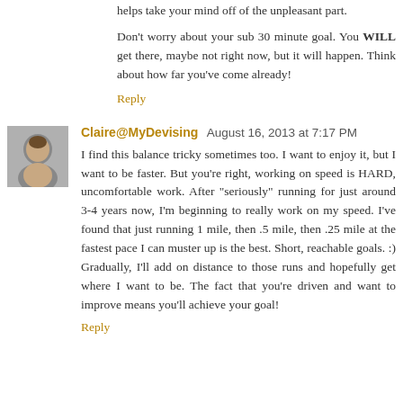helps take your mind off of the unpleasant part.
Don't worry about your sub 30 minute goal. You WILL get there, maybe not right now, but it will happen. Think about how far you've come already!
Reply
Claire@MyDevising  August 16, 2013 at 7:17 PM
I find this balance tricky sometimes too. I want to enjoy it, but I want to be faster. But you're right, working on speed is HARD, uncomfortable work. After "seriously" running for just around 3-4 years now, I'm beginning to really work on my speed. I've found that just running 1 mile, then .5 mile, then .25 mile at the fastest pace I can muster up is the best. Short, reachable goals. :) Gradually, I'll add on distance to those runs and hopefully get where I want to be. The fact that you're driven and want to improve means you'll achieve your goal!
Reply